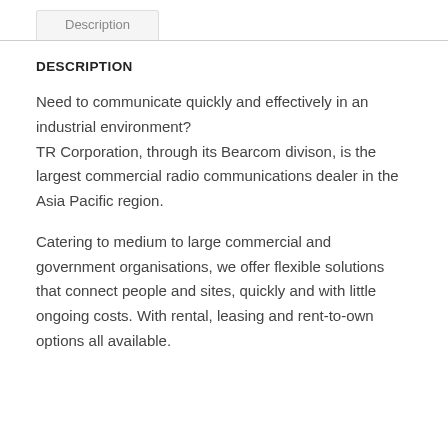Description
DESCRIPTION
Need to communicate quickly and effectively in an industrial environment?
TR Corporation, through its Bearcom divison, is the largest commercial radio communications dealer in the Asia Pacific region.
Catering to medium to large commercial and government organisations, we offer flexible solutions that connect people and sites, quickly and with little ongoing costs. With rental, leasing and rent-to-own options all available.